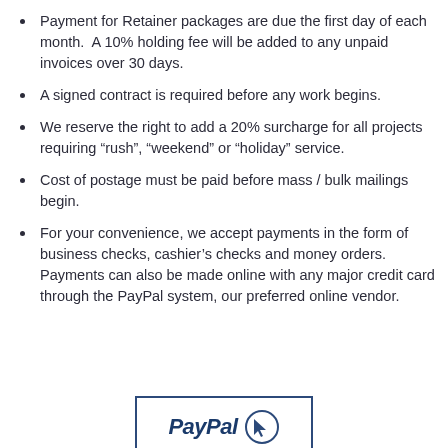Payment for Retainer packages are due the first day of each month.  A 10% holding fee will be added to any unpaid invoices over 30 days.
A signed contract is required before any work begins.
We reserve the right to add a 20% surcharge for all projects requiring “rush”, “weekend” or “holiday” service.
Cost of postage must be paid before mass / bulk mailings begin.
For your convenience, we accept payments in the form of business checks, cashier’s checks and money orders.  Payments can also be made online with any major credit card through the PayPal system, our preferred online vendor.
[Figure (logo): PayPal logo with circular cursor icon inside a rectangular border]